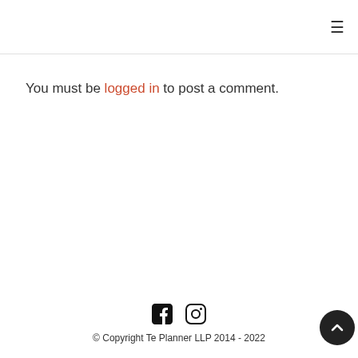≡
You must be logged in to post a comment.
© Copyright Te Planner LLP 2014 - 2022